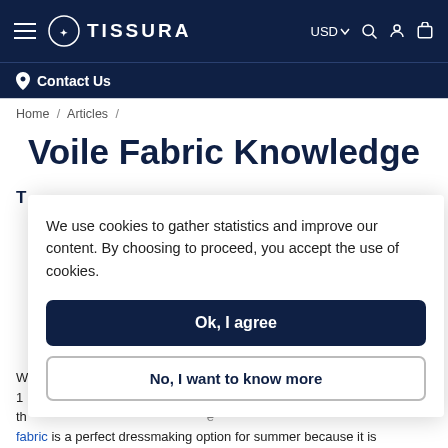TISSURA — Navigation bar with hamburger menu, logo, USD, search, account, cart icons
Contact Us
Home / Articles /
Voile Fabric Knowledge
T[able of Contents]
We use cookies to gather statistics and improve our content. By choosing to proceed, you accept the use of cookies.
Ok, I agree
No, I want to know more
fabric is a perfect dressmaking option for summer because it is